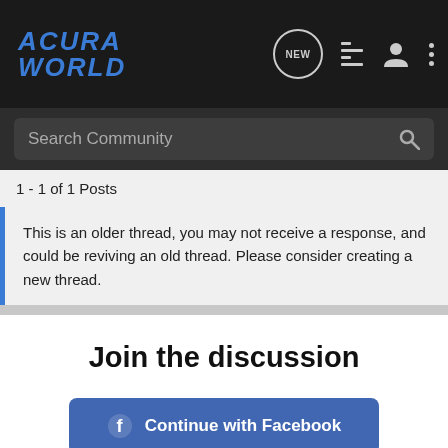ACURA WORLD
Search Community
1 - 1 of 1 Posts
This is an older thread, you may not receive a response, and could be reviving an old thread. Please consider creating a new thread.
Join the discussion
Continue with Facebook
Continue with Google
or sign up with email